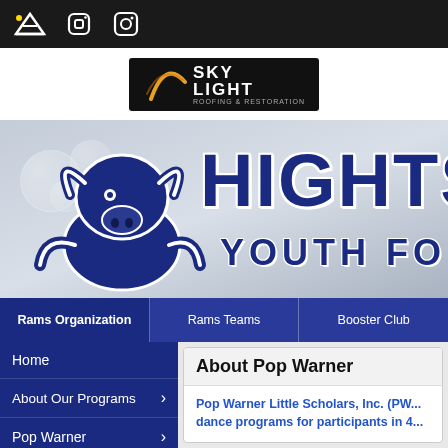Top navigation bar with social icons
[Figure (logo): Sky Light Roofing & Restoration logo — dark background with yellow arc and white text SKY LIGHT]
[Figure (logo): Heights Youth Football Rams banner — navy blue ram mascot on left, large text HEIGHTS partially visible, YOUTH FO... below]
Rams Organization | Rams Teams | Booster Club
Home
About Our Programs
Pop Warner
Little Scholars
About Pop Warner
Pop Warner Little Scholars, Inc. (PW... dance programs for participants in 4...